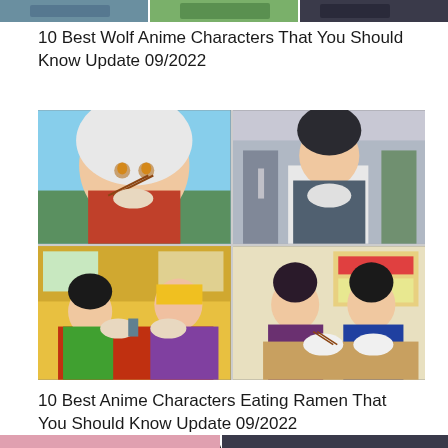[Figure (photo): Top strip showing partial anime images cropped at the top of the page]
10 Best Wolf Anime Characters That You Should Know Update 09/2022
[Figure (photo): 2x2 grid of anime scenes: top-left Inuyasha eating with chopsticks, top-right anime girl eating from bowl, bottom-left two anime characters eating ramen at a red table, bottom-right two anime characters eating ramen at a restaurant]
10 Best Anime Characters Eating Ramen That You Should Know Update 09/2022
What Anime Characters Are Leos ? Update 09/2022
[Figure (photo): Bottom strip showing partial anime images at the bottom of the page]